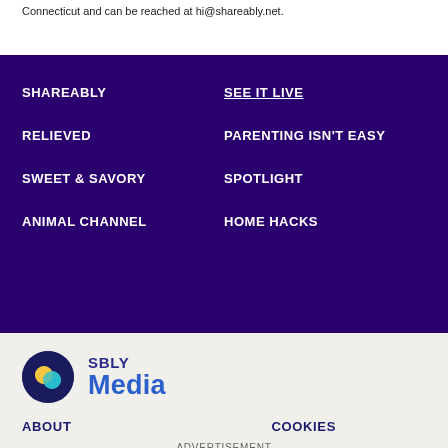Connecticut and can be reached at hi@shareably.net.
SHAREABLY
SEE IT LIVE
RELIEVED
PARENTING ISN'T EASY
SWEET & SAVORY
SPOTLIGHT
ANIMAL CHANNEL
HOME HACKS
[Figure (logo): SBLY Media logo with dark blue circle containing chat bubble icons, and text SBLY Media beside it]
ABOUT
COOKIES
ADVERTISEMENT